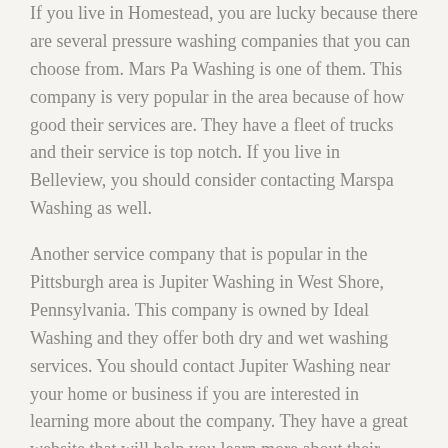If you live in Homestead, you are lucky because there are several pressure washing companies that you can choose from. Mars Pa Washing is one of them. This company is very popular in the area because of how good their services are. They have a fleet of trucks and their service is top notch. If you live in Belleview, you should consider contacting Marspa Washing as well.
Another service company that is popular in the Pittsburgh area is Jupiter Washing in West Shore, Pennsylvania. This company is owned by Ideal Washing and they offer both dry and wet washing services. You should contact Jupiter Washing near your home or business if you are interested in learning more about the company. They have a great website that will help you learn more about their services. If you live in Belleview, you should also look into this company.
The last service company that we will talk about is Floor Pro Washing. This company offers both dry and wet washing services. If you live in Homestead, Jupiter Washing is a great choice for your service company. If